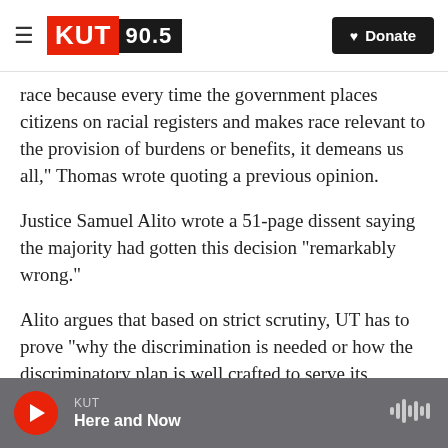KUT 90.5 | Donate
race because every time the government places citizens on racial registers and makes race relevant to the provision of burdens or benefits, it demeans us all," Thomas wrote quoting a previous opinion.
Justice Samuel Alito wrote a 51-page dissent saying the majority had gotten this decision "remarkably wrong."
Alito argues that based on strict scrutiny, UT has to prove "why the discrimination is needed or how the discriminatory plan is well crafted to serve its objectives."
KUT | Here and Now